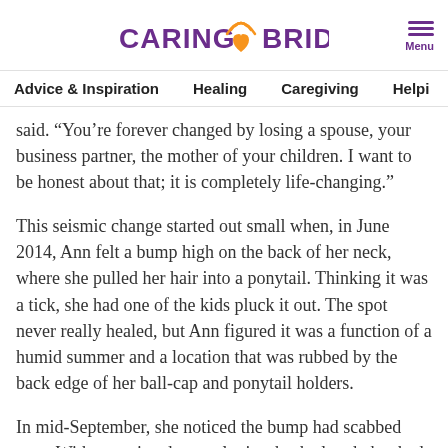CaringBridge — Menu
Advice & Inspiration | Healing | Caregiving | Helping
said. “You’re forever changed by losing a spouse, your business partner, the mother of your children. I want to be honest about that; it is completely life-changing.”
This seismic change started out small when, in June 2014, Ann felt a bump high on the back of her neck, where she pulled her hair into a ponytail. Thinking it was a tick, she had one of the kids pluck it out. The spot never really healed, but Ann figured it was a function of a humid summer and a location that was rubbed by the back edge of her ball-cap and ponytail holders.
In mid-September, she noticed the bump had scabbed over. With a routine dermatologist check already booked for December—a lifetime outdoors as a championship golfer turned coach made Ann careful about her skin—she went